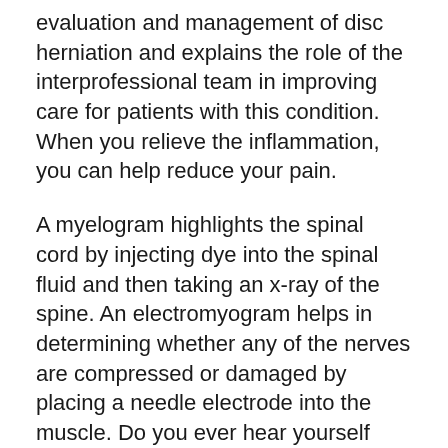evaluation and management of disc herniation and explains the role of the interprofessional team in improving care for patients with this condition. When you relieve the inflammation, you can help reduce your pain.
A myelogram highlights the spinal cord by injecting dye into the spinal fluid and then taking an x-ray of the spine. An electromyogram helps in determining whether any of the nerves are compressed or damaged by placing a needle electrode into the muscle. Do you ever hear yourself moaning about persistent lower back pain? Herniated discs can appear anywhere in the spine, although they are most frequent in the lower back. Do you ever hear yourself...